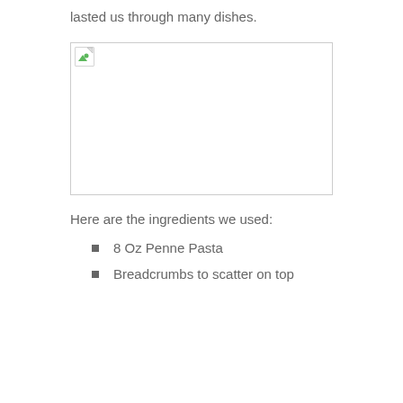lasted us through many dishes.
[Figure (photo): Broken/missing image placeholder with small icon in top-left corner]
Here are the ingredients we used:
8 Oz Penne Pasta
Breadcrumbs to scatter on top